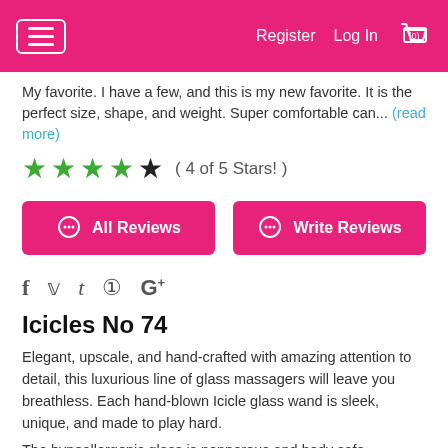Register  Log In  (0)
My favorite. I have a few, and this is my new favorite. It is the perfect size, shape, and weight. Super comfortable can... (read more)
( 4 of 5 Stars! )
All Reviews
Write Reviews
f  t  G+
Icicles No 74
Elegant, upscale, and hand-crafted with amazing attention to detail, this luxurious line of glass massagers will leave you breathless. Each hand-blown Icicle glass wand is sleek, unique, and made to play hard.
The hypoallergenic glass is nonporous and body safe,